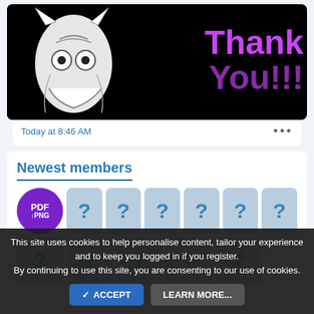[Figure (screenshot): A 'Thank You' image with a white mascot/character on black background and purple 'Thank You!!' text on the right side]
Today at 8:46 AM
Newest members
[Figure (screenshot): Grid of member avatars: first is a purple PDF→PNG icon, rest are grey placeholder tiles with blue question marks]
This site uses cookies to help personalise content, tailor your experience and to keep you logged in if you register. By continuing to use this site, you are consenting to our use of cookies.
✓ ACCEPT   LEARN MORE...